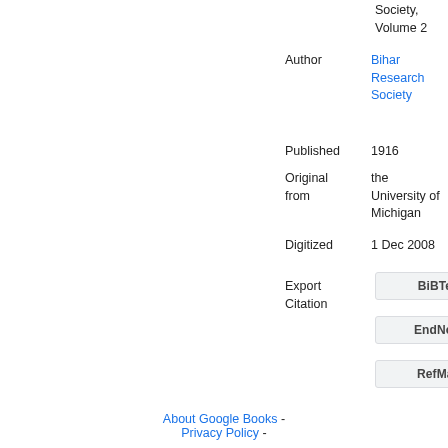Society, Volume 2
Author: Bihar Research Society
Published: 1916
Original from: the University of Michigan
Digitized: 1 Dec 2008
Export Citation
BiBTeX
EndNote
RefMan
About Google Books - Privacy Policy -